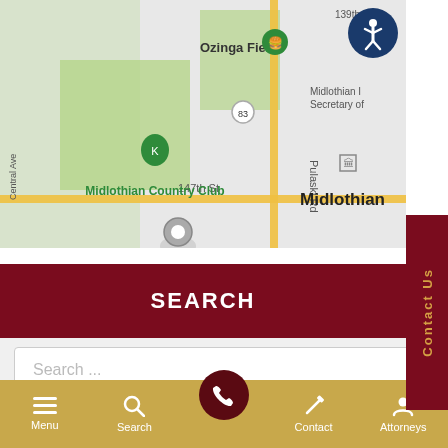[Figure (map): Google Maps view showing Midlothian area with Ozinga Field, Midlothian Country Club, 147th St, Central Ave, Pulaski Rd, and a map pin marker visible.]
Contact Us
SEARCH
Search ...
Menu | Search | (phone) | Contact | Attorneys